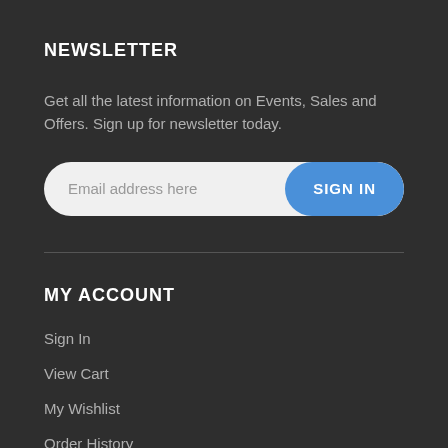NEWSLETTER
Get all the latest information on Events, Sales and Offers. Sign up for newsletter today.
[Figure (other): Email subscription input field with placeholder 'Email address here' and a blue 'SIGN IN' button]
MY ACCOUNT
Sign In
View Cart
My Wishlist
Order History